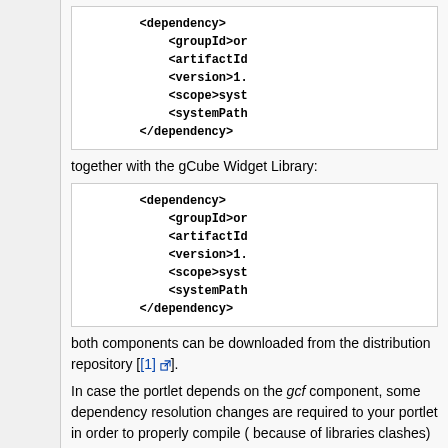[Figure (screenshot): Code block showing XML dependency snippet: <dependency> <groupId>or... <artifactId>... <version>1.... <scope>syst... <systemPath>... </dependency>]
together with the gCube Widget Library:
[Figure (screenshot): Code block showing XML dependency snippet: <dependency> <groupId>or... <artifactId>... <version>1.... <scope>syst... <systemPath>... </dependency>]
both components can be downloaded from the distribution repository [[1] external link].
In case the portlet depends on the gcf component, some dependency resolution changes are required to your portlet in order to properly compile ( because of libraries clashes)